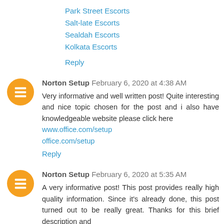Park Street Escorts
Salt-late Escorts
Sealdah Escorts
Kolkata Escorts
Reply
Norton Setup  February 6, 2020 at 4:38 AM
Very informative and well written post! Quite interesting and nice topic chosen for the post and i also have knowledgeable website please click here www.office.com/setup office.com/setup
Reply
Norton Setup  February 6, 2020 at 5:35 AM
A very informative post! This post provides really high quality information. Since it's already done, this post turned out to be really great. Thanks for this brief description and